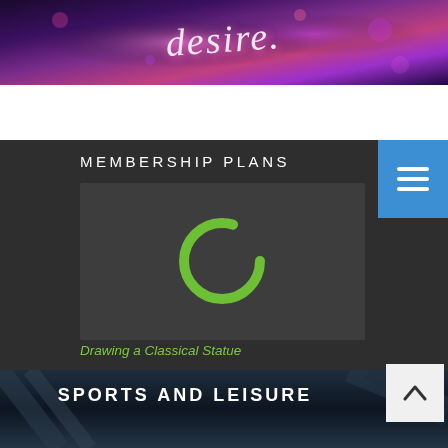[Figure (photo): Purple/pink neon-lit banner with stylized italic script text 'desire.' over a dark background with glowing bokeh lights]
MEMBERSHIP PLANS
[Figure (screenshot): Dark gray video placeholder with a green loading spinner/ring in the center, indicating a loading video]
Drawing a Classical Statue
SPORTS AND LEISURE